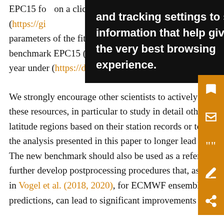EPC15 for … and tracking settings to store information that help give you the very best browsing experience. … clickable … ant cities per … e the results of … ailab parameters of the fitted MBG distribution for the standard benchmark EPC15 (0.1° × 0.1° grid) for each day of the year under (https://doi.org/10.5445/IR/1000127274).
We strongly encourage other scientists to actively use these resources, in particular to study in detail other low latitude regions based on their station records or to extend the analysis presented in this paper to longer lead times. The new benchmark should also be used as a reference to further develop postprocessing procedures that, as shown in Vogel et al. (2018, 2020), for ECMWF ensemble predictions, can lead to significant improvements relative